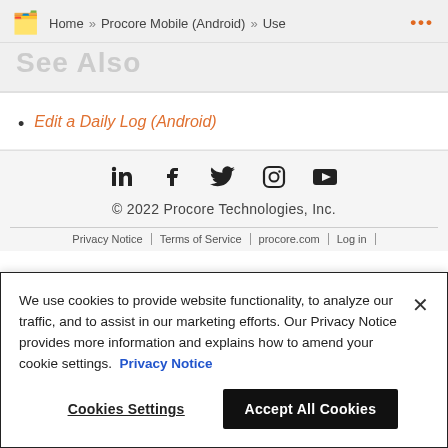Home » Procore Mobile (Android) » Use ...
See Also
Edit a Daily Log (Android)
[Figure (infographic): Social media icons: LinkedIn, Facebook, Twitter, Instagram, YouTube]
© 2022 Procore Technologies, Inc.
Privacy Notice | Terms of Service | procore.com | Log in |
We use cookies to provide website functionality, to analyze our traffic, and to assist in our marketing efforts. Our Privacy Notice provides more information and explains how to amend your cookie settings. Privacy Notice
Cookies Settings  Accept All Cookies